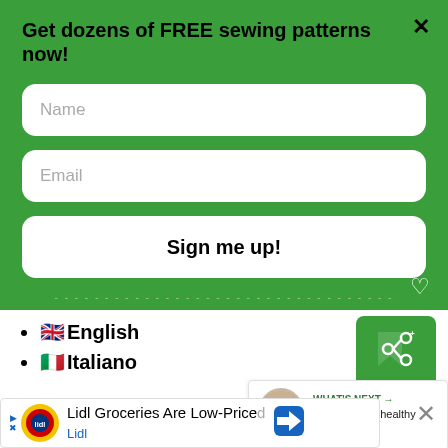Get dozens of FREE sewing patterns now!
Name
Email
Sign me up!
🇬🇧 English
🇮🇹 Italiano
[Figure (infographic): Share widget icon on green background with share symbol]
WHAT'S NEXT → How to make healthy DIY...
Lidl Groceries Are Low-Priced Lidl